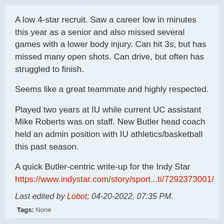A low 4-star recruit. Saw a career low in minutes this year as a senior and also missed several games with a lower body injury. Can hit 3s, but has missed many open shots. Can drive, but often has struggled to finish.
Seems like a great teammate and highly respected.
Played two years at IU while current UC assistant Mike Roberts was on staff. New Butler head coach held an admin position with IU athletics/basketball this past season.
A quick Butler-centric write-up for the Indy Star
https://www.indystar.com/story/sport...ti/7292373001/
Last edited by Lobot; 04-20-2022, 07:35 PM.
Tags: None